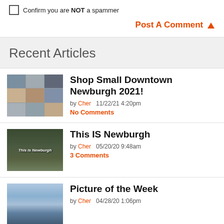Confirm you are NOT a spammer
Post A Comment
Recent Articles
[Figure (photo): Collage of people holding small business signs]
Shop Small Downtown Newburgh 2021!
by Cher   11/22/21 4:20pm
No Comments
[Figure (photo): Aerial view of Newburgh with 'This is Newburgh' text overlay]
This IS Newburgh
by Cher   05/20/20 9:48am
3 Comments
[Figure (photo): Landscape/aerial photo of scenic area]
Picture of the Week
by Cher   04/28/20 1:06pm